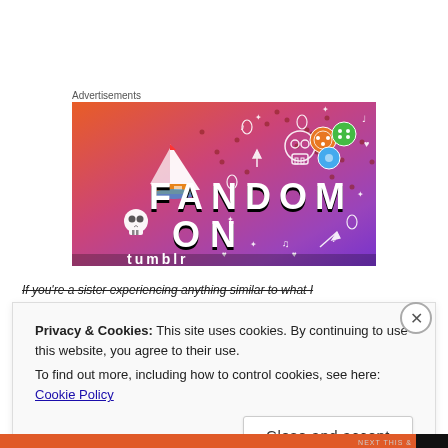Advertisements
[Figure (illustration): Colorful Fandom advertisement banner with gradient orange-to-purple background, showing text 'FANDOM ON' in large bold 3D-style letters, with doodle icons (sailboat, skull, dice, music notes, hearts, stars). Tumblr-style art.]
If you're a sister experiencing anything similar to what I
Privacy & Cookies: This site uses cookies. By continuing to use this website, you agree to their use.
To find out more, including how to control cookies, see here: Cookie Policy
Close and accept